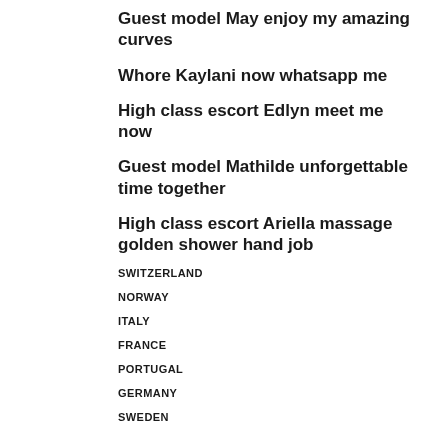Guest model May enjoy my amazing curves
Whore Kaylani now whatsapp me
High class escort Edlyn meet me now
Guest model Mathilde unforgettable time together
High class escort Ariella massage golden shower hand job
SWITZERLAND
NORWAY
ITALY
FRANCE
PORTUGAL
GERMANY
SWEDEN